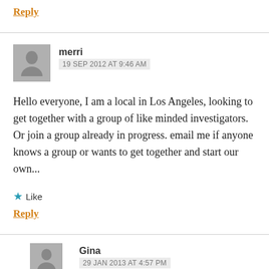Reply
merri
19 SEP 2012 AT 9:46 AM
Hello everyone, I am a local in Los Angeles, looking to get together with a group of like minded investigators. Or join a group already in progress. email me if anyone knows a group or wants to get together and start our own...
★ Like
Reply
Gina
29 JAN 2013 AT 4:57 PM